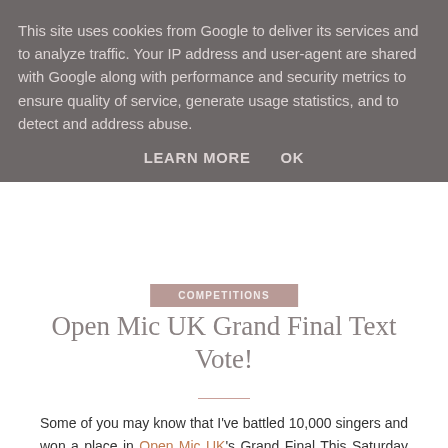This site uses cookies from Google to deliver its services and to analyze traffic. Your IP address and user-agent are shared with Google along with performance and security metrics to ensure quality of service, generate usage statistics, and to detect and address abuse.
LEARN MORE    OK
COMPETITIONS
Open Mic UK Grand Final Text Vote!
Some of you may know that I've battled 10,000 singers and won a place in Open Mic UK's Grand Final This Saturday in London's O2 thanks to the support of my followers... 🎤& you can help me win!🎤 Read on...